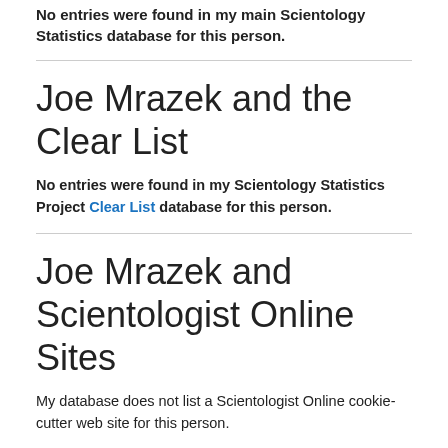No entries were found in my main Scientology Statistics database for this person.
Joe Mrazek and the Clear List
No entries were found in my Scientology Statistics Project Clear List database for this person.
Joe Mrazek and Scientologist Online Sites
My database does not list a Scientologist Online cookie-cutter web site for this person.
Joe Mrazek and WISE Directories
WISE, the World Institute of Scientology Enterprises, publishes